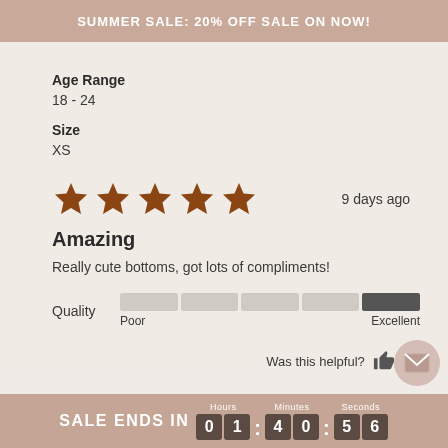SUMMER SALE: 20% OFF SALE ON NOW!
Age Range
18 - 24
Size
XS
[Figure (other): 5 filled brown stars rating with '9 days ago' text on the right]
Amazing
Really cute bottoms, got lots of compliments!
[Figure (other): Quality rating slider bar with 'Poor' on left and 'Excellent' on right, filled to maximum]
Was this helpful? 👍 0
SALE ENDS IN 01 : 40 : 56